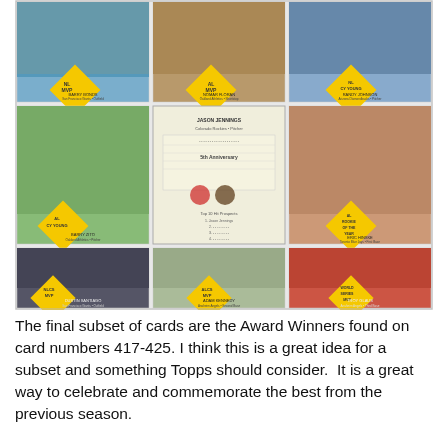[Figure (photo): A grid of baseball trading cards showing Award Winners subset, including NL MVP (Barry Bonds), AL MVP (Nomar Garciaparra), NL Cy Young (Randy Johnson), NL Cy Young (Barry Zito), a card back (Jason Jennings), AL Rookie of the Year (Eric Hinske), NLCS MVP (Dustin Santiago), ALCS MVP (Adam Kennedy), and World Series MVP (Troy Glaus). Cards feature yellow diamond-shaped award badges.]
The final subset of cards are the Award Winners found on card numbers 417-425. I think this is a great idea for a subset and something Topps should consider.  It is a great way to celebrate and commemorate the best from the previous season.